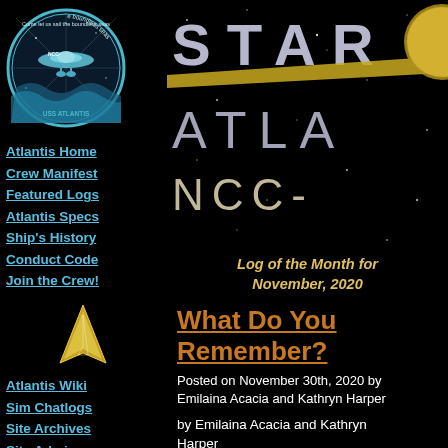[Figure (logo): USS Atlantis circular logo with spaceship and waves, text 'Come let us sail the boundless seas' and 'USS ATLANTIS' around border]
Atlantis Home
Crew Manifest
Featured Logs
Atlantis Specs
Ship's History
Conduct Code
Join the Crew!
[Figure (logo): Starfleet delta/arrow logo in gold/white]
Atlantis Wiki
Sim Chatlogs
Site Archives
Site Admin
[Figure (illustration): Star Trek Atlantis NCC- banner with large spaced letters STAR on top, ATLA below, NCC- below that, gold diagonal streak and partial planet/sphere in top right corner, on black starfield background]
Log of the Month for November, 2020
What Do You Remember?
Posted on November 30th, 2020 by Emilaina Acacia and Kathryn Harper
by Emilaina Acacia and Kathryn Harper
Emilaina was distracted as she made